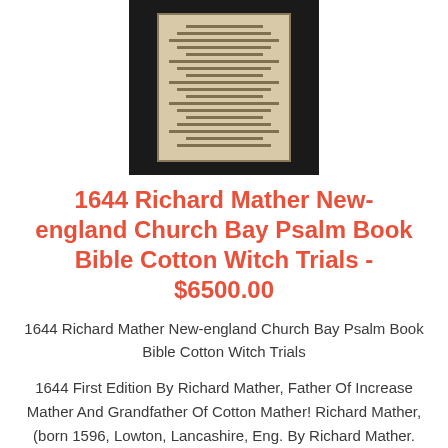[Figure (photo): Photograph of an old worn book or document with printed text, displayed against a dark/black background]
1644 Richard Mather New-england Church Bay Psalm Book Bible Cotton Witch Trials - $6500.00
1644 Richard Mather New-england Church Bay Psalm Book Bible Cotton Witch Trials
1644 First Edition By Richard Mather, Father Of Increase Mather And Grandfather Of Cotton Mather! Richard Mather, (born 1596, Lowton, Lancashire, Eng. By Richard Mather. London